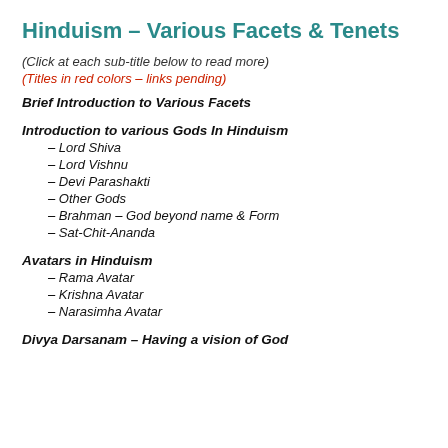Hinduism – Various Facets & Tenets
(Click at each sub-title below to read more)
(Titles in red colors – links pending)
Brief Introduction to Various Facets
Introduction to various Gods In Hinduism
– Lord Shiva
– Lord Vishnu
– Devi Parashakti
– Other Gods
– Brahman – God beyond name & Form
– Sat-Chit-Ananda
Avatars in Hinduism
– Rama Avatar
– Krishna Avatar
– Narasimha Avatar
Divya Darsanam – Having a vision of God